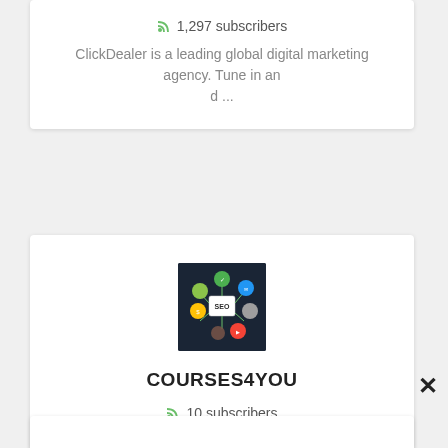1,297 subscribers
ClickDealer is a leading global digital marketing agency. Tune in and ...
[Figure (illustration): SEO concept diagram with colored circles connected to a central SEO monitor, on dark navy background]
COURSES4YOU
10 subscribers
WELCOME TO THE ACADEMY LET'S LEARN...